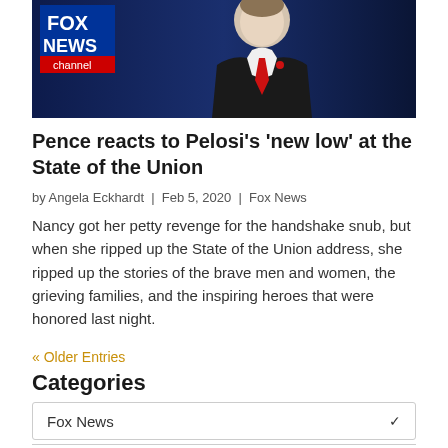[Figure (photo): Fox News channel broadcast screenshot showing a man in a suit with a red tie against a blue studio background, with the Fox News Channel logo visible in the upper left]
Pence reacts to Pelosi’s ‘new low’ at the State of the Union
by Angela Eckhardt | Feb 5, 2020 | Fox News
Nancy got her petty revenge for the handshake snub, but when she ripped up the State of the Union address, she ripped up the stories of the brave men and women, the grieving families, and the inspiring heroes that were honored last night.
« Older Entries
Categories
Fox News